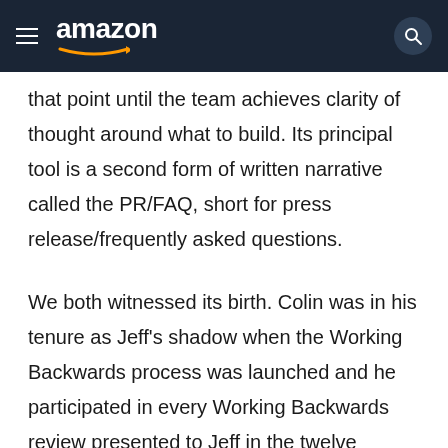amazon
that point until the team achieves clarity of thought around what to build. Its principal tool is a second form of written narrative called the PR/FAQ, short for press release/frequently asked questions.
We both witnessed its birth. Colin was in his tenure as Jeff's shadow when the Working Backwards process was launched and he participated in every Working Backwards review presented to Jeff in the twelve months thereafter. And Bill's experience was forged by